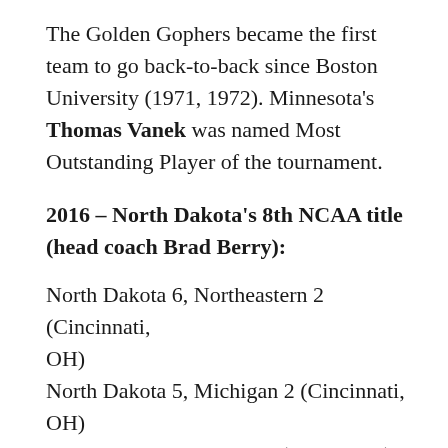The Golden Gophers became the first team to go back-to-back since Boston University (1971, 1972). Minnesota's Thomas Vanek was named Most Outstanding Player of the tournament.
2016 – North Dakota's 8th NCAA title (head coach Brad Berry):
North Dakota 6, Northeastern 2 (Cincinnati, OH)
North Dakota 5, Michigan 2 (Cincinnati, OH)
North Dakota 4, Denver 2 (Tampa, FL)
North Dakota 5, Quinnipiac 1 (Tampa, FL)
UND defeated the nation's hottest team (Northeastern, 20-1-2 in their last 23 games